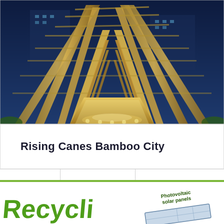[Figure (photo): Nighttime photograph of a bamboo architectural structure — Rising Canes Bamboo City — showing tall diagonal bamboo poles forming triangular arch shapes, illuminated from below with warm golden lighting against a dark blue sky. The structure has a corridor-like interior with a polished wooden floor and latticed bamboo ceiling.]
Rising Canes Bamboo City
[Figure (infographic): Partial infographic at bottom of page showing green 'Recycli...' text in large bold letters on the left side, and a label reading 'Photovoltaic solar panels' with a solar panel illustration on the right, separated by a green horizontal line above.]